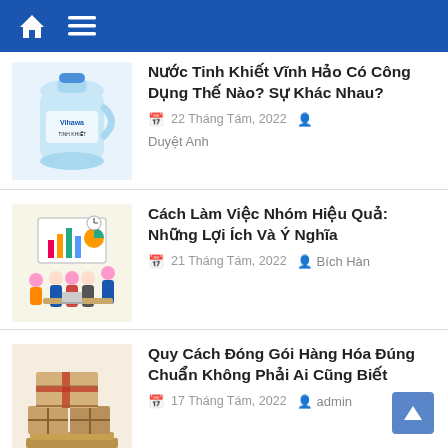Home | Menu
[Figure (illustration): Blue water jug with Vihawa label]
Nước Tinh Khiết Vĩnh Hảo Có Công Dụng Thế Nào? Sự Khác Nhau?
22 Tháng Tám, 2022   Duyệt Anh
[Figure (illustration): Cartoon people working in a team around a table with charts]
Cách Làm Việc Nhóm Hiệu Quả: Những Lợi Ích Và Ý Nghĩa
21 Tháng Tám, 2022   Bích Hàn
[Figure (illustration): Cardboard boxes stacked on a pallet]
Quy Cách Đóng Gói Hàng Hóa Đúng Chuẩn Không Phải Ai Cũng Biết
17 Tháng Tám, 2022   admin